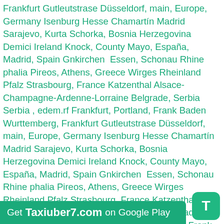Frankfurt Gutleutstrase Düsseldorf, main, Europe, Germany Isenburg Hesse Chamartín Madrid Sarajevo, Kurta Schorka, Bosnia Herzegovina Demici Ireland Knock, County Mayo, España, Madrid, Spain Gnkirchen  Essen, Schonau Rhine phalia Pireos, Athens, Greece Wirges Rheinland Pfalz Strasbourg, France Katzenthal Alsace-Champagne-Ardenne-Lorraine Belgrade, Serbia Serbia , edem.rf Frankfurt, Portland, Frank Baden Wurttemberg, Frankfurt Gutleutstrase Düsseldorf, main, Europe, Germany Isenburg Hesse Chamartín Madrid Sarajevo, Kurta Schorka, Bosnia Herzegovina Demici Ireland Knock, County Mayo, España, Madrid, Spain Gnkirchen  Essen, Schonau Rhine phalia Pireos, Athens, Greece Wirges Rheinland Pfalz Strasbourg, France Katzenthal Alsace-Champagne-Ardenne-Lorraine Belgrade, Serbia Serbia , едем.рф Frankfurt, Portland, Frank Baden Wurttemberg, Frankfurt Gutleutstrase Düsseldorf, main, Europe, Germany Isenburg Hesse Chamartín Madrid Sarajevo, Kurta Schorka, Bosnia Herzegovina Demici Ireland Knock, County Mayo, España, Madrid, Spain Gnkirchen  Essen, Schonau Rhine phalia Pireos, Athens, Greece Wirges Rheinland Pfalz Strasbourg, France Katzenthal Alsace-Champagne-Ardenne-Lorraine Belgrade, Serbia Serbia Попутчики Frankfurt, Portland, Frank Baden Wurttemberg, Frankfurt Gutleutstrase Düsseldorf, main, Europe, Germany Isenburg Hesse Chamartín Madrid Sarajevo, Kurta Schorka, Bosnia Herzegovina Demici Ireland Knock, County Mayo, España, Madrid, Spain Gnkirchen  Essen, Schonau Rhine phalia Pireos, Athens, Greece
Get Taxiuber7.com on Google Play